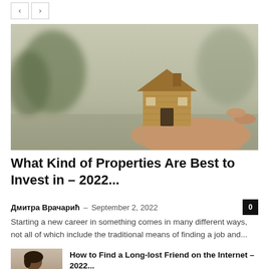[Figure (other): Navigation previous/next arrow buttons]
[Figure (photo): Hero image showing a wooden miniature house held in hand against a blurred outdoor background]
What Kind of Properties Are Best to Invest in – 2022...
Дмитра Врачарић – September 2, 2022  0
Starting a new career in something comes in many different ways, not all of which include the traditional means of finding a job and...
[Figure (photo): Thumbnail image of a person looking at a phone or device]
How to Find a Long-lost Friend on the Internet – 2022...